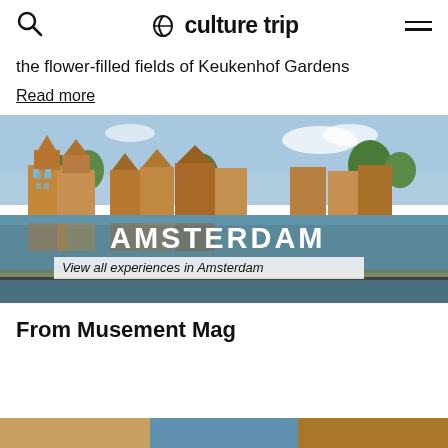culture trip
the flower-filled fields of Keukenhof Gardens
Read more
[Figure (photo): Amsterdam canal with traditional Dutch gabled buildings reflected in the water. Overlay text reads 'AMSTERDAM' and 'View all experiences in Amsterdam']
From Musement Mag